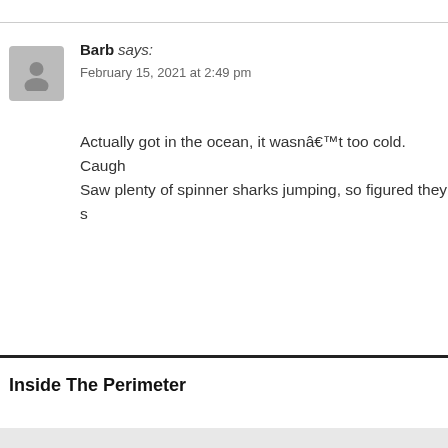Barb says:
February 15, 2021 at 2:49 pm
Actually got in the ocean, it wasnâ€™t too cold. Caugh… Saw plenty of spinner sharks jumping, so figured they s…
Inside The Perimeter